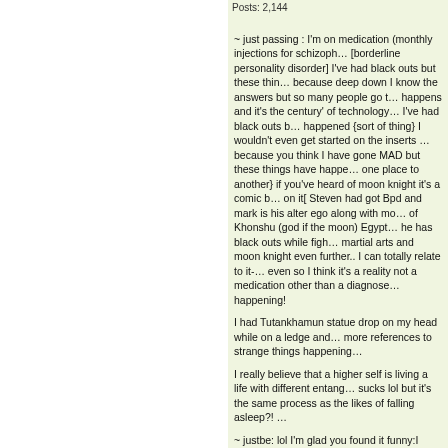Posts: 2,144
~ just passing : I'm on medication (monthly injections for schizoph… [borderline personality disorder] I've had black outs but these thin… because deep down I know the answers but so many people go t… happens and it's the century' of technology… I've had black outs b… happened {sort of thing} I wouldn't even get started on the inserts … because you think I have gone MAD but these things have happe… one place to another} if you've heard of moon knight it's a comic b… on it[ Steven had got Bpd and mark is his alter ego along with mo… of Khonshu (god if the moon) Egypt… he has black outs while figh… martial arts and moon knight even further.. I can totally relate to it-… even so I think it's a reality not a medication other than a diagnose… happening!
I had Tutankhamun statue drop on my head while on a ledge and… more references to strange things happening…
I really believe that a higher self is living a life with different entang… sucks lol but it's the same process as the likes of falling asleep?! …
~ justbe: lol I'm glad you found it funny:I didn't at the start thought…
Yes, I've had 'dimensions open up' and allowing for a real treat wi… bottle smashing and a sound and them fixing again —- teleportati… my way back home always to early than the holidays was over[ov…
I've been blindsided- wow you've had a lot happening I definitely b… possibilities and something we can achieve.. strive for amongst o…